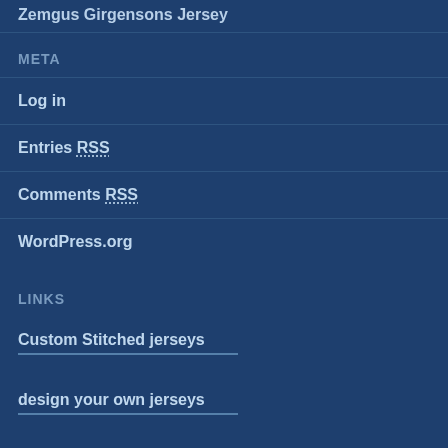Zemgus Girgensons Jersey
META
Log in
Entries RSS
Comments RSS
WordPress.org
LINKS
Custom Stitched jerseys
design your own jerseys